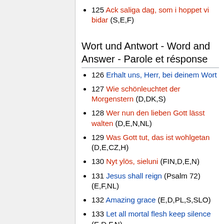125 Ack saliga dag, som i hoppet vi bidar (S,E,F)
Wort und Antwort - Word and Answer - Parole et résponse
126 Erhalt uns, Herr, bei deinem Wort
127 Wie schönleuchtet der Morgenstern (D,DK,S)
128 Wer nun den lieben Gott lässt walten (D,E,N,NL)
129 Was Gott tut, das ist wohlgetan (D,E,CZ,H)
130 Nyt ylös, sieluni (FIN,D,E,N)
131 Jesus shall reign (Psalm 72) (E,F,NL)
132 Amazing grace (E,D,PL,S,SLO)
133 Let all mortal flesh keep silence (E,D,F,N)